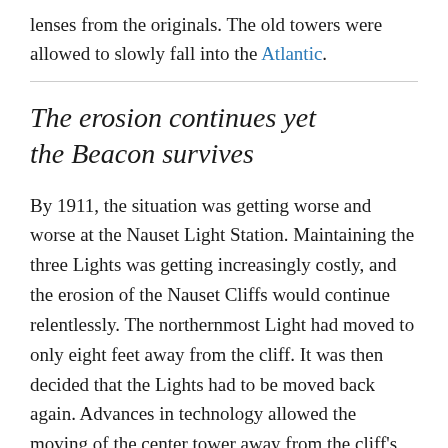lenses from the originals. The old towers were allowed to slowly fall into the Atlantic.
The erosion continues yet the Beacon survives
By 1911, the situation was getting worse and worse at the Nauset Light Station. Maintaining the three Lights was getting increasingly costly, and the erosion of the Nauset Cliffs would continue relentlessly. The northernmost Light had moved to only eight feet away from the cliff. It was then decided that the Lights had to be moved back again. Advances in technology allowed the moving of the center tower away from the cliff's edge attached to the oil house. The other two towers Sisters were promptly set aside and decommissioned until a decision could be reached about their fate.